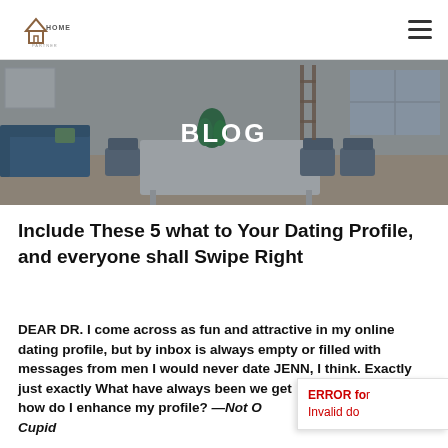HOME (logo) — navigation bar with hamburger menu
[Figure (photo): Hero banner showing a modern living/dining room interior with blue sofa, white dining table, chairs, and large windows. Overlaid with semi-transparent dark filter. Text 'BLOG' displayed in bold white centered on the image.]
Include These 5 what to Your Dating Profile, and everyone shall Swipe Right
DEAR DR. I come across as fun and attractive in my online dating profile, but by inbox is always empty or filled with messages from men I would never date JENN, I think. Exactly just exactly What have always been we getting incorrect? Just how do I enhance my profile? —Not On Cupid